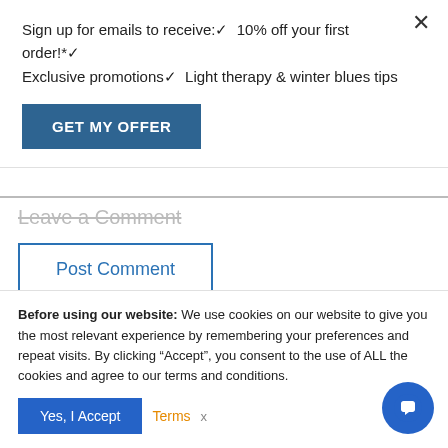Sign up for emails to receive:✔ 10% off your first order!*✔ Exclusive promotions✔ Light therapy & winter blues tips
GET MY OFFER
Leave a Comment
Post Comment
PREVIOUS
Research Shows Melatonin & Vit...
NEXT
Mindfulness and Light Therapy
Before using our website: We use cookies on our website to give you the most relevant experience by remembering your preferences and repeat visits. By clicking "Accept", you consent to the use of ALL the cookies and agree to our terms and conditions.
Yes, I Accept
Terms
x